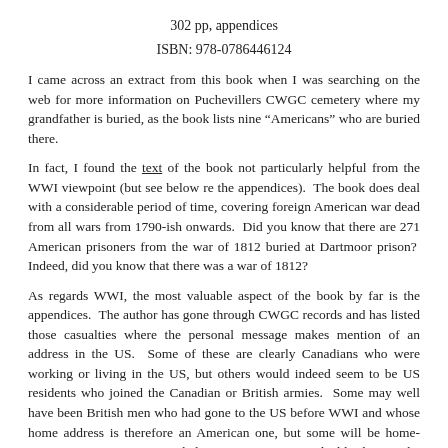302 pp, appendices
ISBN: 978-0786446124
I came across an extract from this book when I was searching on the web for more information on Puchevillers CWGC cemetery where my grandfather is buried, as the book lists nine “Americans” who are buried there.
In fact, I found the text of the book not particularly helpful from the WWI viewpoint (but see below re the appendices). The book does deal with a considerable period of time, covering foreign American war dead from all wars from 1790-ish onwards. Did you know that there are 271 American prisoners from the war of 1812 buried at Dartmoor prison? Indeed, did you know that there was a war of 1812?
As regards WWI, the most valuable aspect of the book by far is the appendices. The author has gone through CWGC records and has listed those casualties where the personal message makes mention of an address in the US. Some of these are clearly Canadians who were working or living in the US, but others would indeed seem to be US residents who joined the Canadian or British armies. Some may well have been British men who had gone to the US before WWI and whose home address is therefore an American one, but some will be home-grown Americans. Nonetheless, it is a very valuable list. The information does not just cover the Western Front itself but covers the various theatres of WWI. There are also some “American” casualties